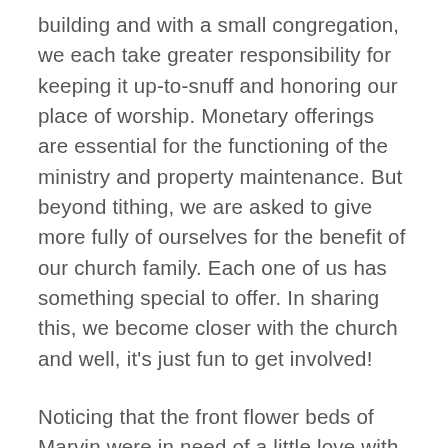building and with a small congregation, we each take greater responsibility for keeping it up-to-snuff and honoring our place of worship. Monetary offerings are essential for the functioning of the ministry and property maintenance. But beyond tithing, we are asked to give more fully of ourselves for the benefit of our church family. Each one of us has something special to offer. In sharing this, we become closer with the church and well, it's just fun to get involved!
Noticing that the front flower beds of Marvin were in need of a little love with the seasonal changes, Nate and I offered to stock them. Colorful flowers and greenery bring delight and positive energy to a space! They speak such love